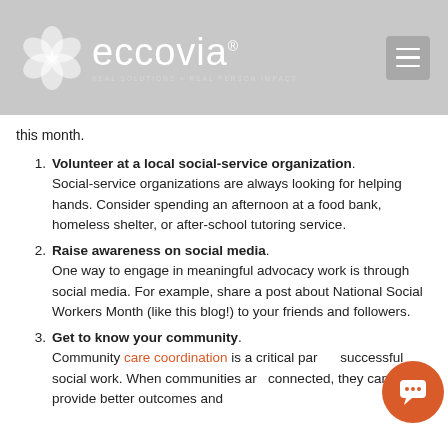eccovia — REAL SOLUTIONS + REAL PERSON IMPACT
this month.
1. Volunteer at a local social-service organization. Social-service organizations are always looking for helping hands. Consider spending an afternoon at a food bank, homeless shelter, or after-school tutoring service.
2. Raise awareness on social media. One way to engage in meaningful advocacy work is through social media. For example, share a post about National Social Workers Month (like this blog!) to your friends and followers.
3. Get to know your community. Community care coordination is a critical part of successful social work. When communities are connected, they can provide better outcomes and